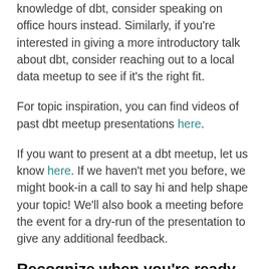knowledge of dbt, consider speaking on office hours instead. Similarly, if you're interested in giving a more introductory talk about dbt, consider reaching out to a local data meetup to see if it's the right fit.
For topic inspiration, you can find videos of past dbt meetup presentations here.
If you want to present at a dbt meetup, let us know here. If we haven't met you before, we might book-in a call to say hi and help shape your topic! We'll also book a meeting before the event for a dry-run of the presentation to give any additional feedback.
Recognize when you're ready to give a talk